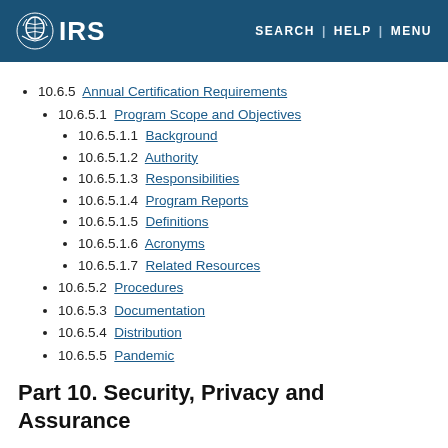IRS | SEARCH | HELP | MENU
10.6.5 Annual Certification Requirements
10.6.5.1 Program Scope and Objectives
10.6.5.1.1 Background
10.6.5.1.2 Authority
10.6.5.1.3 Responsibilities
10.6.5.1.4 Program Reports
10.6.5.1.5 Definitions
10.6.5.1.6 Acronyms
10.6.5.1.7 Related Resources
10.6.5.2 Procedures
10.6.5.3 Documentation
10.6.5.4 Distribution
10.6.5.5 Pandemic
Part 10. Security, Privacy and Assurance